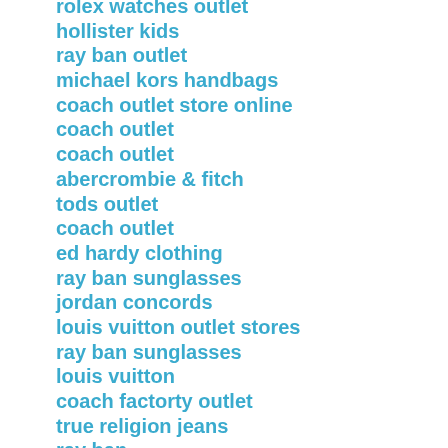rolex watches outlet
hollister kids
ray ban outlet
michael kors handbags
coach outlet store online
coach outlet
coach outlet
abercrombie & fitch
tods outlet
coach outlet
ed hardy clothing
ray ban sunglasses
jordan concords
louis vuitton outlet stores
ray ban sunglasses
louis vuitton
coach factorty outlet
true religion jeans
ray ban
nike running shoes
giuseppe zanotti sneakers
michael kors outlet
asics shoes